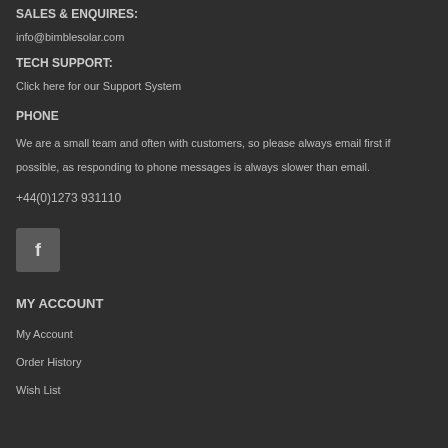SALES & ENQUIRES:
info@bimblesolar.com
TECH SUPPORT:
Click here for our Support System
PHONE
We are a small team and often with customers, so please always email first if possible, as responding to phone messages is always slower than email.
+44(0)1273 931110
[Figure (logo): Facebook icon button square with 'f' logo]
MY ACCOUNT
My Account
Order History
Wish List